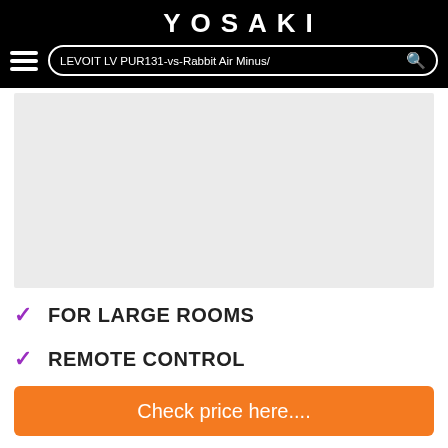YOSAKI
LEVOIT LV PUR131-vs-Rabbit Air Minus/
[Figure (photo): Gray placeholder image area for product photo]
FOR LARGE ROOMS
REMOTE CONTROL
CHILD LOCK
Check price here....